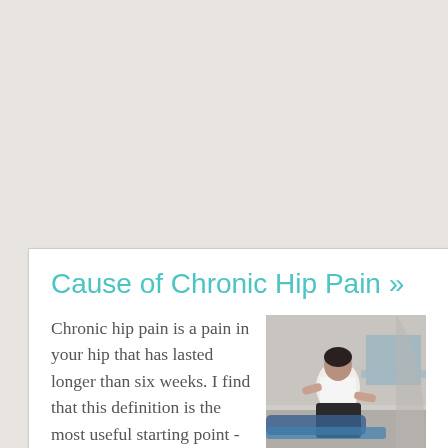Cause of Chronic Hip Pain »
[Figure (photo): A healthcare professional or physiotherapist working with a patient on hip mobility/stretching exercise on a treatment table.]
Chronic hip pain is a pain in your hip that has lasted longer than six weeks. I find that this definition is the most useful starting point - as six weeks is generally the transition point